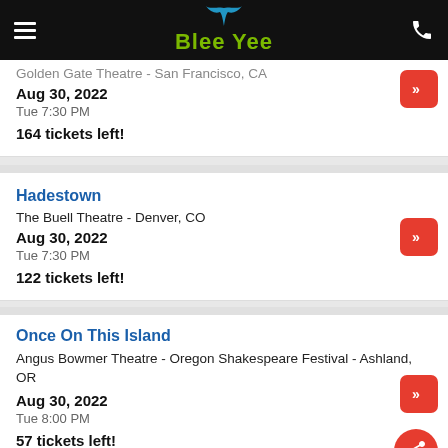Blee Yee
Golden Gate Theatre - San Francisco, CA
Aug 30, 2022
Tue 7:30 PM
164 tickets left!
Hadestown
The Buell Theatre - Denver, CO
Aug 30, 2022
Tue 7:30 PM
122 tickets left!
Once On This Island
Angus Bowmer Theatre - Oregon Shakespeare Festival - Ashland, OR
Aug 30, 2022
Tue 8:00 PM
57 tickets left!